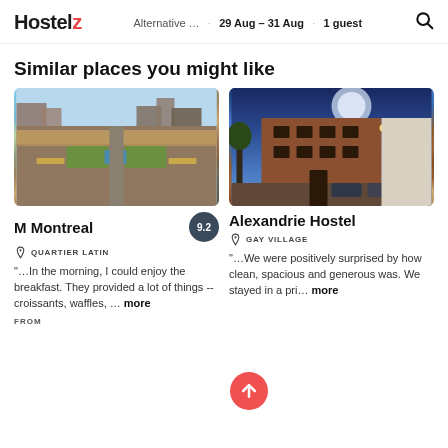Hostelz · Alternative... · 29 Aug - 31 Aug · 1 guest
Similar places you might like
[Figure (photo): Aerial view of M Montreal hostel rooftop terrace with gardens and city skyline in background]
[Figure (photo): Exterior of Alexandrie Hostel brick building at dusk with street lights and parked cars]
M Montreal · QUARTIER LATIN · "…In the morning, I could enjoy the breakfast. They provided a lot of things -- croissants, waffles, … more · FROM
Alexandrie Hostel · GAY VILLAGE · "…We were positively surprised by how clean, spacious and generous was. We stayed in a pri… more